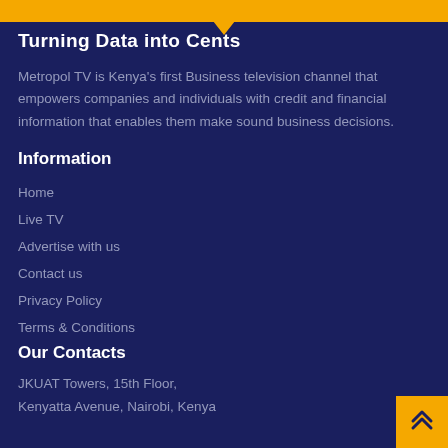[Figure (other): Yellow banner with arrow/chevron decoration at the top of the page]
Turning Data into Cents
Metropol TV is Kenya's first Business television channel that empowers companies and individuals with credit and financial information that enables them make sound business decisions.
Information
Home
Live TV
Advertise with us
Contact us
Privacy Policy
Terms & Conditions
Our Contacts
JKUAT Towers, 15th Floor,
Kenyatta Avenue, Nairobi, Kenya